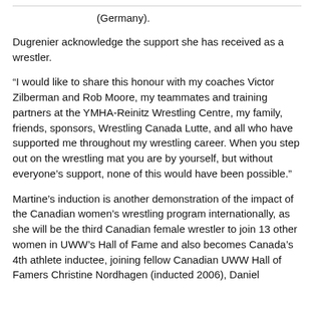(Germany).
Dugrenier acknowledge the support she has received as a wrestler.
“I would like to share this honour with my coaches Victor Zilberman and Rob Moore, my teammates and training partners at the YMHA-Reinitz Wrestling Centre, my family, friends, sponsors, Wrestling Canada Lutte, and all who have supported me throughout my wrestling career. When you step out on the wrestling mat you are by yourself, but without everyone’s support, none of this would have been possible.”
Martine’s induction is another demonstration of the impact of the Canadian women’s wrestling program internationally, as she will be the third Canadian female wrestler to join 13 other women in UWW’s Hall of Fame and also becomes Canada’s 4th athlete inductee, joining fellow Canadian UWW Hall of Famers Christine Nordhagen (inducted 2006), Daniel